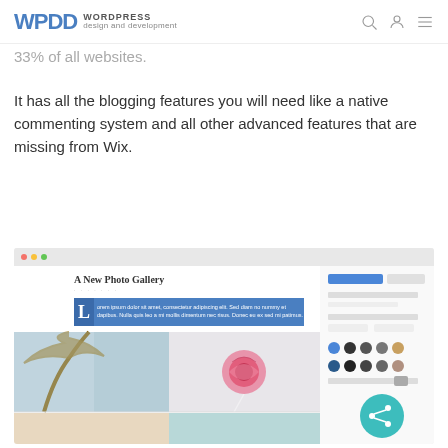WPDD WORDPRESS design and development
33% of all websites.
It has all the blogging features you will need like a native commenting system and all other advanced features that are missing from Wix.
[Figure (screenshot): Screenshot of a WordPress photo gallery editor interface showing 'A New Photo Gallery' heading, a Lorem ipsum text block, and a grid of photos including a tree against sky and a pink rose, alongside a right-side settings/options panel. A teal share button appears in the bottom right.]